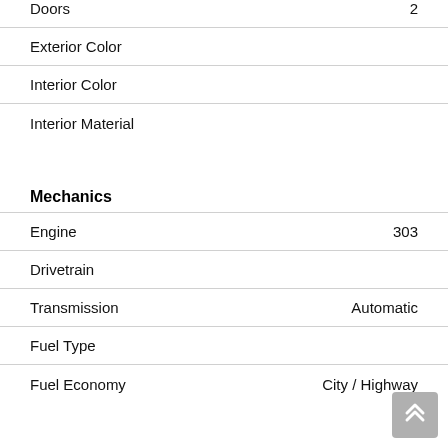| Property | Value |
| --- | --- |
| Doors | 2 |
| Exterior Color |  |
| Interior Color |  |
| Interior Material |  |
Mechanics
| Property | Value |
| --- | --- |
| Engine | 303 |
| Drivetrain |  |
| Transmission | Automatic |
| Fuel Type |  |
| Fuel Economy | City / Highway |